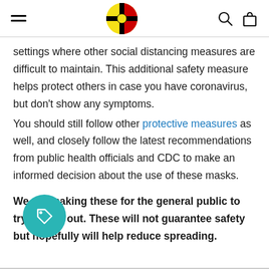Navigation header with hamburger menu, logo, search and bag icons
settings where other social distancing measures are difficult to maintain. This additional safety measure helps protect others in case you have coronavirus, but don't show any symptoms.
You should still follow other protective measures as well, and closely follow the latest recommendations from public health officials and CDC to make an informed decision about the use of these masks.
We are making these for the general public to try to help out. These will not guarantee safety but hopefully will help reduce spreading.
[Figure (logo): Teal circular badge with a tag/label icon]